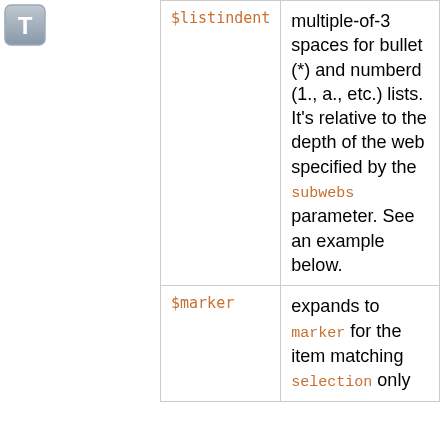[Figure (logo): Gray square icon with letter T]
| Parameter | Description |
| --- | --- |
| $listindent | multiple-of-3 spaces for bullet (*) and numberd (1., a., etc.) lists. It's relative to the depth of the web specified by the subwebs parameter. See an example below. |
| $marker | expands to marker for the item matching selection only |